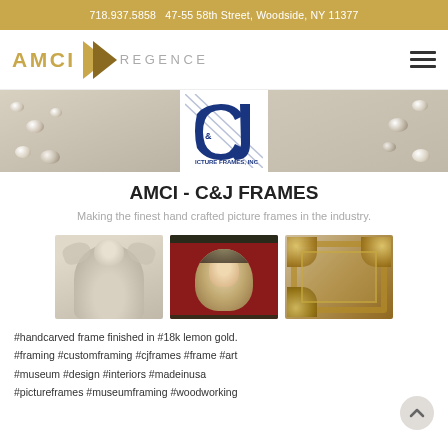718.937.5858   47-55 58th Street, Woodside, NY 11377
[Figure (logo): AMCI Regence logo with gold arrow chevron and hamburger menu icon]
[Figure (photo): Hero banner with C&J Picture Frames Inc logo centered over two photo panels showing decorative white stones/pebbles on textured surface]
AMCI - C&J FRAMES
Making the finest hand crafted picture frames in the industry.
[Figure (photo): Three gallery thumbnails: sculptural figure, portrait in red velvet frame, ornate gold picture frame corner]
#handcarved frame finished in #18k lemon gold. #framing #customframing #cjframes #frame #art #museum #design #interiors #madeinusa #pictureframes #museumframing #woodworking